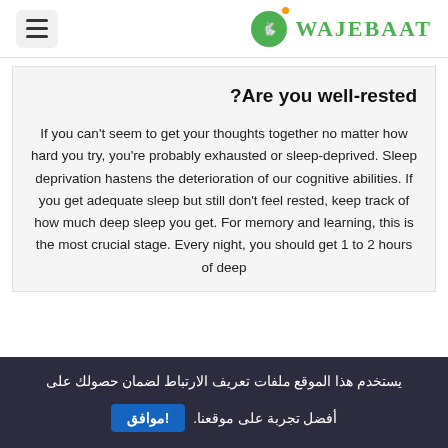Wajebaat
Are you well-rested?
If you can't seem to get your thoughts together no matter how hard you try, you're probably exhausted or sleep-deprived. Sleep deprivation hastens the deterioration of our cognitive abilities. If you get adequate sleep but still don't feel rested, keep track of how much deep sleep you get. For memory and learning, this is the most crucial stage. Every night, you should get 1 to 2 hours of deep
يستخدم هذا الموقع ملفات تعريف الارتباط لضمان حصولك على أفضل تجربة على موقعنا. موافق!